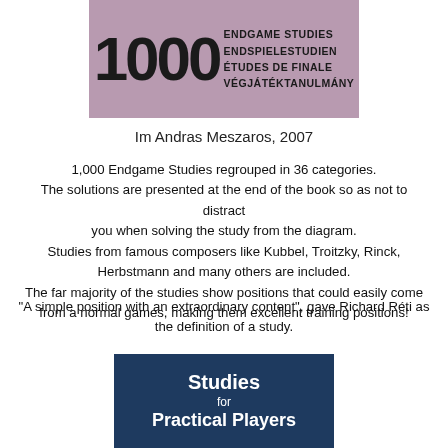[Figure (illustration): Book cover for '1000 Endgame Studies' with mauve/purple background, large bold '1000' numeral on left, and multilingual subtitle text on right: ENDGAME STUDIES / ENDSPIELESTUDIEN / ÉTUDES DE FINALE / VÉGJÁTÉKTANULMÁNY]
Im Andras Meszaros, 2007
1,000 Endgame Studies regrouped in 36 categories.
The solutions are presented at the end of the book so as not to distract you when solving the study from the diagram.
Studies from famous composers like Kubbel, Troitzky, Rinck, Herbstmann and many others are included.
The far majority of the studies show positions that could easily come from a normal games, making them excellent training positions!
"A simple position with an extraordinary content", gave Richard Réti as the definition of a study.
[Figure (illustration): Book cover for 'Studies for Practical Players' with dark navy blue background and white bold text. Below is a partial view of a chess board with pieces.]